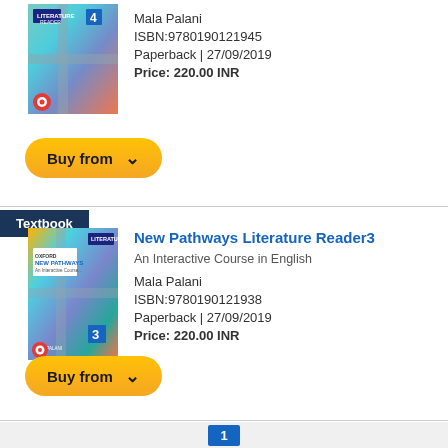[Figure (illustration): Book cover for New Pathways Literature Reader 4 with colorful map/road design]
Mala Palani
ISBN:9780190121945
Paperback | 27/09/2019
Price: 220.00 INR
Buy from ∨
Textbook
New Pathways Literature Reader3
An Interactive Course in English
Mala Palani
ISBN:9780190121938
Paperback | 27/09/2019
Price: 220.00 INR
Buy from ∨
1